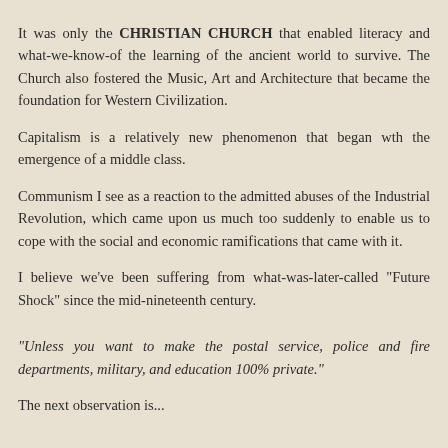It was only the CHRISTIAN CHURCH that enabled literacy and what-we-know-of the learning of the ancient world to survive. The Church also fostered the Music, Art and Architecture that became the foundation for Western Civilization.
Capitalism is a relatively new phenomenon that began wth the emergence of a middle class.
Communism I see as a reaction to the admitted abuses of the Industrial Revolution, which came upon us much too suddenly to enable us to cope with the social and economic ramifications that came with it.
I believe we've been suffering from what-was-later-called "Future Shock" since the mid-nineteenth century.
"Unless you want to make the postal service, police and fire departments, military, and education 100% private."
The next observation is...